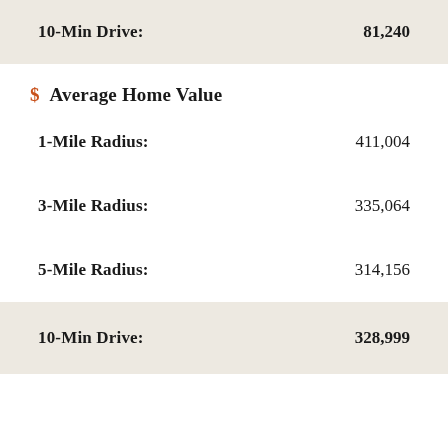10-Min Drive: 81,240
$ Average Home Value
1-Mile Radius: 411,004
3-Mile Radius: 335,064
5-Mile Radius: 314,156
10-Min Drive: 328,999